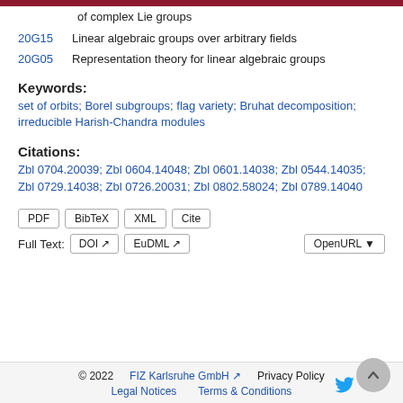20G15 Linear algebraic groups over arbitrary fields
20G05 Representation theory for linear algebraic groups
Keywords:
set of orbits; Borel subgroups; flag variety; Bruhat decomposition; irreducible Harish-Chandra modules
Citations:
Zbl 0704.20039; Zbl 0604.14048; Zbl 0601.14038; Zbl 0544.14035; Zbl 0729.14038; Zbl 0726.20031; Zbl 0802.58024; Zbl 0789.14040
© 2022 FIZ Karlsruhe GmbH Privacy Policy Legal Notices Terms & Conditions